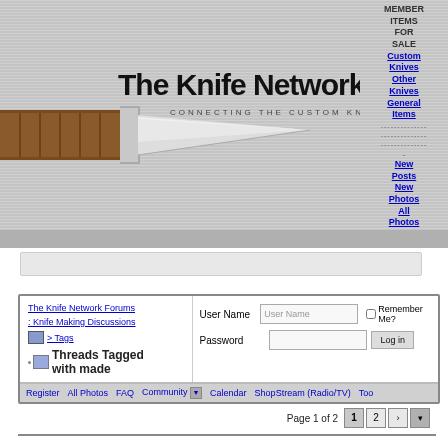[Figure (screenshot): The Knife Network website header banner with knife image and logo]
MEMBER ITEMS FOR SALE
Custom Knives
Other Knives
General Items
New Posts
New Photos
All Photos
[Figure (screenshot): Search bar input field]
The Knife Network Forums : Knife Making Discussions > Tags
Threads Tagged with made
User Name  [User Name]  [ ] Remember Me?
Password  [        ]  [Log in]
Register  All Photos  FAQ  Community  Calendar  ShopStream (Radio/TV)  Too
Page 1 of 2  1  2  >